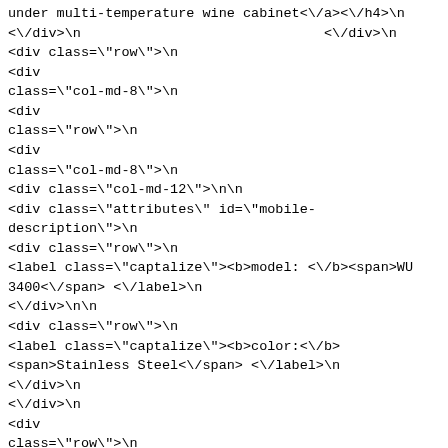under multi-temperature wine cabinet<\/a><\/h4>\n<\/div>\n                              <\/div>\n<div class=\"row\">\n                                              <div class=\"col-md-8\">\n                                                        <div class=\"row\">\n                                              <div class=\"col-md-8\">\n<div class=\"col-md-12\">\n\n<div class=\"attributes\" id=\"mobile-description\">\n<div class=\"row\">\n<label class=\"captalize\"><b>model: <\/b><span>WU 3400<\/span> <\/label>\n<\/div>\n\n<div class=\"row\">\n<label class=\"captalize\"><b>color:<\/b><span>Stainless Steel<\/span> <\/label>\n<\/div>\n<\/div>\n                                              <div class=\"row\">\n<\/div>\n                                              <div class=\"row\" id=\"mobile-description\">\n<p class=\"desc\" style=\"text-align:left; margin-top:5px; margin-bottom:5px;\">To Store. To Showcase. To Serve. The Perfect Wine Cabinets For Your Lifestyle.\r\nWine drinkers have d..<\/p>\n<\/div>\n                                              <div class=\"row col-xs-12\">\n<\/div>\n\n<\/div>\n                                                        <\/div>\n<div class=\"col-md-4 col-xs-12\">\n<div class=\"row col-xs-12\">\n